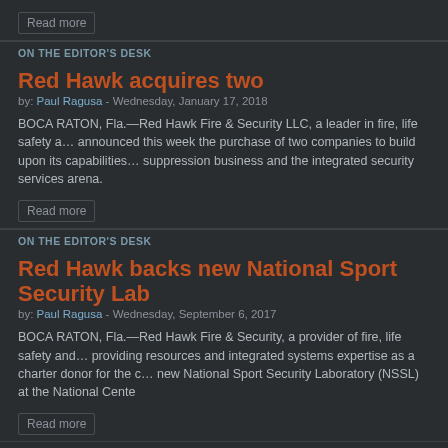Read more
ON THE EDITOR'S DESK
Red Hawk acquires two
by: Paul Ragusa - Wednesday, January 17, 2018
BOCA RATON, Fla.—Red Hawk Fire & Security LLC, a leader in fire, life safety a… announced this week the purchase of two companies to build upon its capabilities… suppression business and the integrated security services arena.
Read more
ON THE EDITOR'S DESK
Red Hawk backs new National Sport Security Lab
by: Paul Ragusa - Wednesday, September 6, 2017
BOCA RATON, Fla.—Red Hawk Fire & Security, a provider of fire, life safety and… providing resources and integrated systems expertise as a charter donor for the c… new National Sport Security Laboratory (NSSL) at the National Cente
Read more
Red Hawk acquires Tele-Tector of Maryland
Deal expands the company's presence in the mid-Atlantic
by: Paul Ragusa - Wednesday, January ...